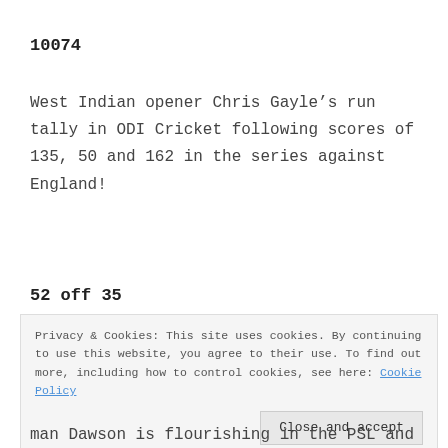10074
West Indian opener Chris Gayle’s run tally in ODI Cricket following scores of 135, 50 and 162 in the series against England!
52 off 35
Privacy & Cookies: This site uses cookies. By continuing to use this website, you agree to their use. To find out more, including how to control cookies, see here: Cookie Policy

[Close and accept]
man Dawson is flourishing in the PSL and